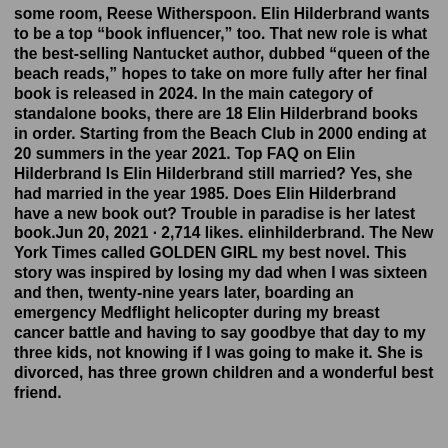some room, Reese Witherspoon. Elin Hilderbrand wants to be a top “book influencer,” too. That new role is what the best-selling Nantucket author, dubbed “queen of the beach reads,” hopes to take on more fully after her final book is released in 2024. In the main category of standalone books, there are 18 Elin Hilderbrand books in order. Starting from the Beach Club in 2000 ending at 20 summers in the year 2021. Top FAQ on Elin Hilderbrand Is Elin Hilderbrand still married? Yes, she had married in the year 1985. Does Elin Hilderbrand have a new book out? Trouble in paradise is her latest book.Jun 20, 2021 · 2,714 likes. elinhilderbrand. The New York Times called GOLDEN GIRL my best novel. This story was inspired by losing my dad when I was sixteen and then, twenty-nine years later, boarding an emergency Medflight helicopter during my breast cancer battle and having to say goodbye that day to my three kids, not knowing if I was going to make it. She is divorced, has three grown children and a wonderful best friend.